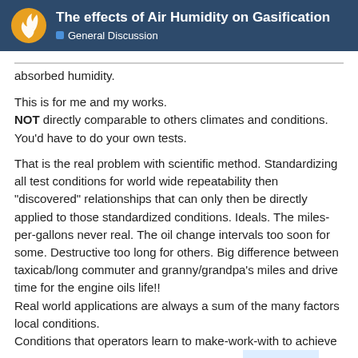The effects of Air Humidity on Gasification — General Discussion
absorbed humidity.
This is for me and my works.
NOT directly comparable to others climates and conditions.
You'd have to do your own tests.
That is the real problem with scientific method. Standardizing all test conditions for world wide repeatability then "discovered" relationships that can only then be directly applied to those standardized conditions. Ideals. The miles-per-gallons never real. The oil change intervals too soon for some. Destructive too long for others. Big difference between taxicab/long commuter and granny/grandpa's miles and drive time for the engine oils life!!
Real world applications are always a sum of the many factors local conditions.
Conditions that operators learn to make-work-with to achieve results. Practical achievable ranges then.
INother 2-3 hours and I will go out and why...